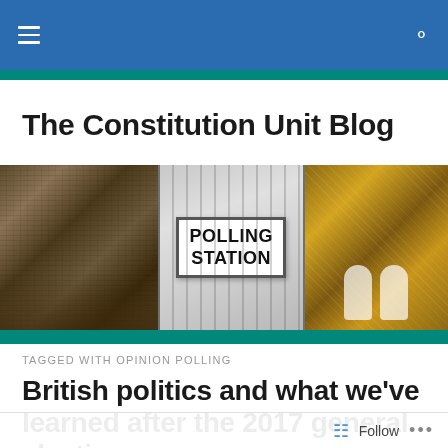The Constitution Unit Blog — navigation bar
The Constitution Unit Blog
[Figure (photo): Three-panel photo strip: left panel shows UK Parliament chamber packed with MPs; centre panel shows a white 'POLLING STATION' sign on metal gates; right panel shows two royal figures (Queen and Prince) seated on ornate golden thrones.]
TAGGED WITH OPINION POLLING
British politics and what we've learned after the 2017 general election
Follow